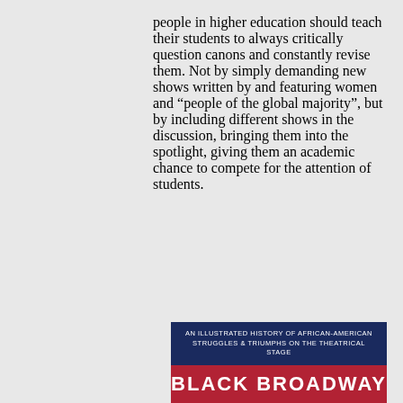people in higher education should teach their students to always critically question canons and constantly revise them. Not by simply demanding new shows written by and featuring women and “people of the global majority”, but by including different shows in the discussion, bringing them into the spotlight, giving them an academic chance to compete for the attention of students.
[Figure (illustration): Book cover showing 'An Illustrated History of African-American Struggles & Triumphs on the Theatrical Stage' with 'BLACK BROADWAY' in large white text on a red background, on a dark navy blue background.]